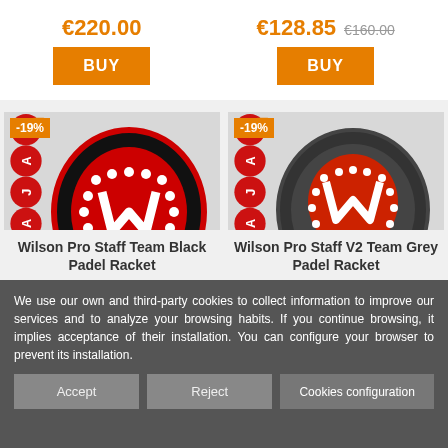€220.00
BUY
€128.85 €160.00
BUY
[Figure (photo): Wilson Pro Staff Team Black Padel Racket with -19% discount badge and REBAJAS banner on left side]
Wilson Pro Staff Team Black Padel Racket
[Figure (photo): Wilson Pro Staff V2 Team Grey Padel Racket with -19% discount badge and REBAJAS banner on left side]
Wilson Pro Staff V2 Team Grey Padel Racket
We use our own and third-party cookies to collect information to improve our services and to analyze your browsing habits. If you continue browsing, it implies acceptance of their installation. You can configure your browser to prevent its installation.
Accept
Reject
Cookies configuration